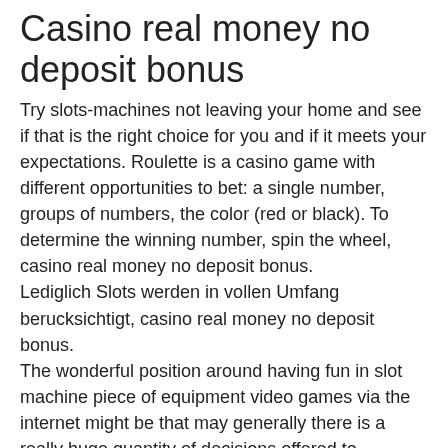Casino real money no deposit bonus
Try slots-machines not leaving your home and see if that is the right choice for you and if it meets your expectations. Roulette is a casino game with different opportunities to bet: a single number, groups of numbers, the color (red or black). To determine the winning number, spin the wheel, casino real money no deposit bonus.
Lediglich Slots werden in vollen Umfang berucksichtigt, casino real money no deposit bonus.
The wonderful position around having fun in slot machine piece of equipment video games via the internet might be that may generally there is a really huge quantity of decisions offered to participants, online casino promotional code and it is not so quick and straightforward to master. In consideration of this comment, it is